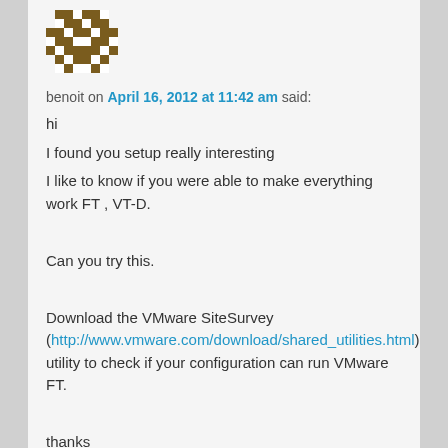[Figure (illustration): Pixel-art avatar icon — brown and white checkerboard face pattern on dark background]
benoit on April 16, 2012 at 11:42 am said:
hi
I found you setup really interesting
I like to know if you were able to make everything work FT , VT-D.

Can you try this.

Download the VMware SiteSurvey (http://www.vmware.com/download/shared_utilities.html) utility to check if your configuration can run VMware FT.

thanks
Benoit
Like
Reply ↓